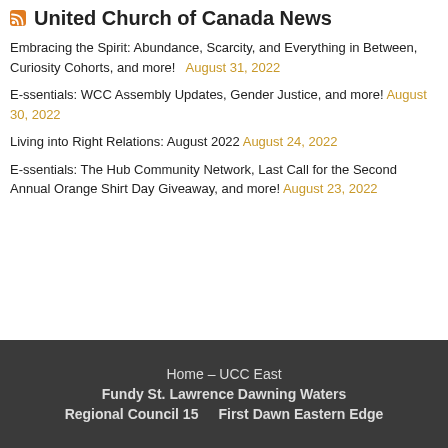United Church of Canada News
Embracing the Spirit: Abundance, Scarcity, and Everything in Between, Curiosity Cohorts, and more! August 31, 2022
E-ssentials: WCC Assembly Updates, Gender Justice, and more! August 30, 2022
Living into Right Relations: August 2022 August 24, 2022
E-ssentials: The Hub Community Network, Last Call for the Second Annual Orange Shirt Day Giveaway, and more! August 23, 2022
Home – UCC East
Fundy St. Lawrence Dawning Waters
Regional Council 15    First Dawn Eastern Edge